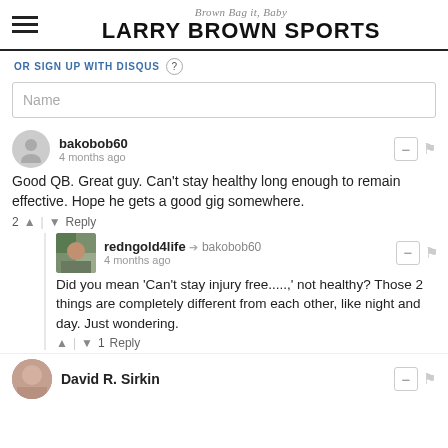Brown Bag it, Baby — LARRY BROWN SPORTS
OR SIGN UP WITH DISQUS
Name
bakobob60 — 4 months ago
Good QB. Great guy. Can't stay healthy long enough to remain effective. Hope he gets a good gig somewhere.
2 | Reply
redngold4life → bakobob60 — 4 months ago
Did you mean 'Can't stay injury free.....,' not healthy? Those 2 things are completely different from each other, like night and day. Just wondering.
| 1 Reply
David R. Sirkin